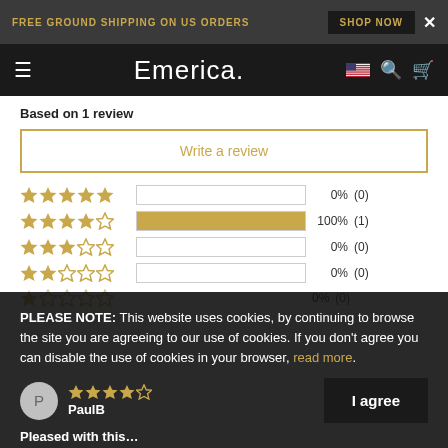FREE GROUND SHIPPING ON US ORDERS  SHOP NOW  ×
Emerica.
Based on 1 review
Write a review
[Figure (infographic): Star rating breakdown: 5 stars 0% (0), 4 stars 100% (1), 3 stars 0% (0), 2 stars 0% (0), 1 star 0% (0)]
PLEASE NOTE: This website uses cookies, by continuing to browse the site you are agreeing to our use of cookies. If you don't agree you can disable the use of cookies in your browser, read more.
PaulB
Pleased with this…